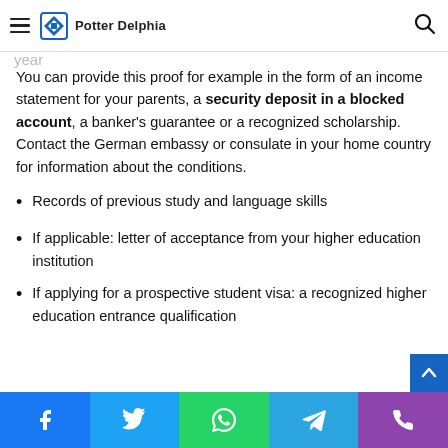Potter Delphia
studying in Germany, you will be expected to demonstrate proof of approximately 8800 EUR for one year.
You can provide this proof for example in the form of an income statement for your parents, a security deposit in a blocked account, a banker's guarantee or a recognized scholarship. Contact the German embassy or consulate in your home country for information about the conditions.
Records of previous study and language skills
If applicable: letter of acceptance from your higher education institution
If applying for a prospective student visa: a recognized higher education entrance qualification